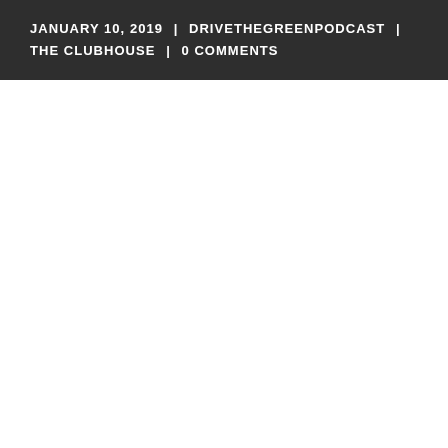JANUARY 10, 2019 | DRIVETHEGREENPODCAST | THE CLUBHOUSE | 0 COMMENTS